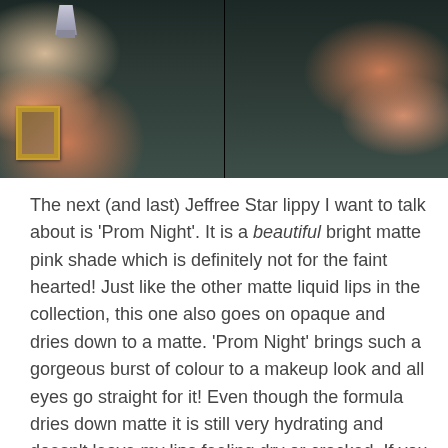[Figure (photo): Two side-by-side photos of a person wearing a dark teal ribbed turtleneck sweater. The left photo shows a wider view with a gold-framed picture and a lamp visible in the background. The right photo is a closer crop showing mainly the sweater texture.]
The next (and last) Jeffree Star lippy I want to talk about is 'Prom Night'. It is a beautiful bright matte pink shade which is definitely not for the faint hearted! Just like the other matte liquid lips in the collection, this one also goes on opaque and dries down to a matte. 'Prom Night' brings such a gorgeous burst of colour to a makeup look and all eyes go straight for it! Even though the formula dries down matte it is still very hydrating and doesn't leave my lips feeling dry or cracked. If you already do or you're thinking about wearing brighter coloured lipstick this shade is definitely a great place to start, it's a stunning colour that'll make you feel powerful.